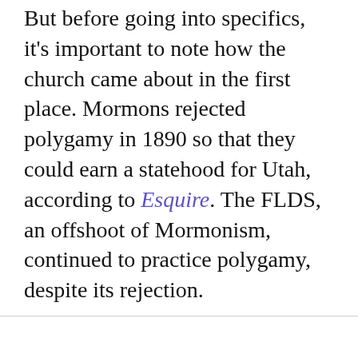But before going into specifics, it's important to note how the church came about in the first place. Mormons rejected polygamy in 1890 so that they could earn a statehood for Utah, according to Esquire. The FLDS, an offshoot of Mormonism, continued to practice polygamy, despite its rejection.